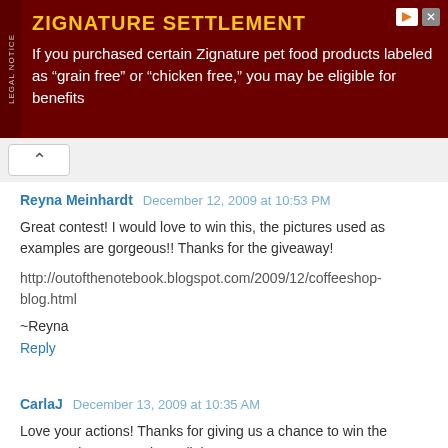[Figure (other): Advertisement banner for Zignature Settlement with dark red background. Legal notice on left side. Title 'ZIGNATURE SETTLEMENT' in yellow. Body text: 'If you purchased certain Zignature pet food products labeled as "grain free" or "chicken free," you may be eligible for benefits'. Play and close icons top right.]
Reyna Meinhardt  December 12, 2009 at 10:53 PM
Great contest! I would love to win this, the pictures used as examples are gorgeous!! Thanks for the giveaway!
http://outofthenotebook.blogspot.com/2009/12/coffeeshop-blog.html
~Reyna
Reply
CarlaJ  December 13, 2009 at 10:35 AM
Love your actions! Thanks for giving us a chance to win the watermark set. Here is my link:
http://iscrapforfun.blogspot.com/2009/12/photoshop